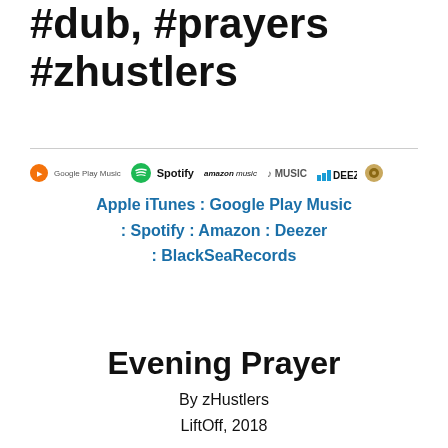#dub, #prayers #zhustlers
[Figure (logo): Row of music platform logos: Google Play Music, Spotify, Amazon Music, Apple Music, Deezer, BlackSeaRecords]
Apple iTunes : Google Play Music : Spotify : Amazon : Deezer : BlackSeaRecords
Evening Prayer
By zHustlers
LiftOff, 2018
Lyrics: Now I lay me down to sleep, I p me through the night, And wake me in : I pray the Jah my soul to keep. May the me in their blessed sight.  If I should liv